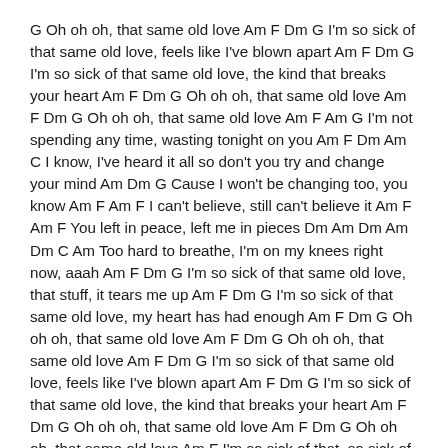G Oh oh oh, that same old love Am F Dm G I'm so sick of that same old love, feels like I've blown apart Am F Dm G I'm so sick of that same old love, the kind that breaks your heart Am F Dm G Oh oh oh, that same old love Am F Dm G Oh oh oh, that same old love Am F Am G I'm not spending any time, wasting tonight on you Am F Dm Am C I know, I've heard it all so don't you try and change your mind Am Dm G Cause I won't be changing too, you know Am F Am F I can't believe, still can't believe it Am F Am F You left in peace, left me in pieces Dm Am Dm Am Dm C Am Too hard to breathe, I'm on my knees right now, aaah Am F Dm G I'm so sick of that same old love, that stuff, it tears me up Am F Dm G I'm so sick of that same old love, my heart has had enough Am F Dm G Oh oh oh, that same old love Am F Dm G Oh oh oh, that same old love Am F Dm G I'm so sick of that same old love, feels like I've blown apart Am F Dm G I'm so sick of that same old love, the kind that breaks your heart Am F Dm G Oh oh oh, that same old love Am F Dm G Oh oh oh, that same old love Am F I'm so sick of that, so sick of that love Am F I'm so sick of that, so sick of that love Am F I'm so sick of that, so sick of that love Am F I'm so sick of that, so sick of that love Am F Dm G I'm so sick of that same